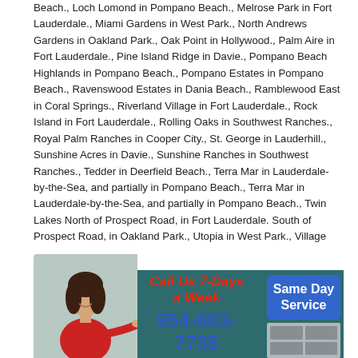Beach., Loch Lomond in Pompano Beach., Melrose Park in Fort Lauderdale., Miami Gardens in West Park., North Andrews Gardens in Oakland Park., Oak Point in Hollywood., Palm Aire in Fort Lauderdale., Pine Island Ridge in Davie., Pompano Beach Highlands in Pompano Beach., Pompano Estates in Pompano Beach., Ravenswood Estates in Dania Beach., Ramblewood East in Coral Springs., Riverland Village in Fort Lauderdale., Rock Island in Fort Lauderdale., Rolling Oaks in Southwest Ranches., Royal Palm Ranches in Cooper City., St. George in Lauderhill., Sunshine Acres in Davie., Sunshine Ranches in Southwest Ranches., Tedder in Deerfield Beach., Terra Mar in Lauderdale-by-the-Sea, and partially in Pompano Beach., Terra Mar in Lauderdale-by-the-Sea, and partially in Pompano Beach., Twin Lakes North of Prospect Road, in Fort Lauderdale. South of Prospect Road, in Oakland Park., Utopia in West Park., Village Park in North Lauderdale., West Ken-Lark in Lauderhill., Andytown, Boulevard Gardens, Broadview Park, Fort Lauderdale-Hollywood International Airport, Franklin Park, Hillsboro Pines, Roosevelt Gardens, Washington Park,
[Figure (infographic): Advertisement banner for a local service company. Shows a smiling woman in a red top on the left, teal background, red italic text 'Call Us 7-Days a Week', blue phone number '954-603-7735', and a blue rounded rectangle button on the right with white text 'Same Day Service', plus a filing cabinet image.]